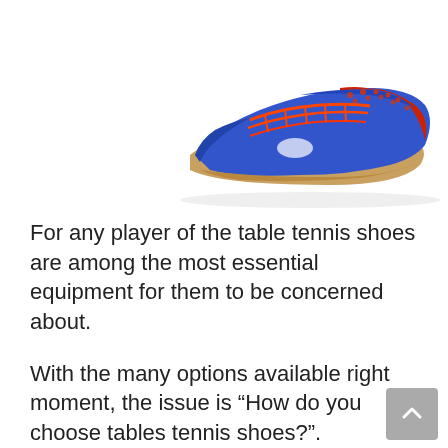[Figure (photo): Partial view of blue and red table tennis/badminton shoes with orange/red laces on white background, cropped showing mainly the top portion of the shoes]
For any player of the table tennis shoes are among the most essential equipment for them to be concerned about.
With the many options available right moment, the issue is “How do you choose tables tennis shoes?”.
In reality, you’d be sure to take a variety of factors into consideration to choose the appropriate footwear for your needs.